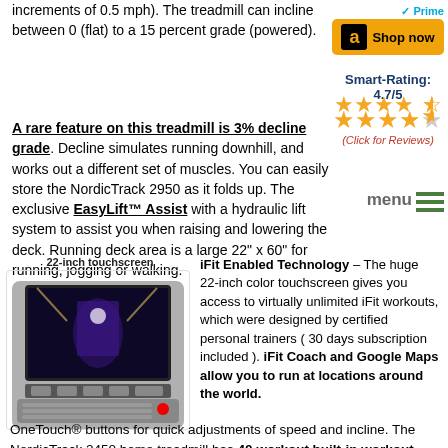increments of 0.5 mph). The treadmill can incline between 0 (flat) to a 15 percent grade (powered).
[Figure (infographic): Amazon Prime Shop now badge with gold background and Amazon logo]
Smart-Rating: 4.7/5
[Figure (infographic): 4.5 out of 5 stars rating shown as orange stars]
(Click for Reviews)
A rare feature on this treadmill is 3% decline grade. Decline simulates running downhill, and works out a different set of muscles. You can easily store the NordicTrack 2950 as it folds up. The exclusive EasyLift™ Assist with a hydraulic lift system to assist you when raising and lowering the deck. Running deck area is a large 22" x 60" for running, jogging or walking.
[Figure (photo): 22-inch touchscreen treadmill console showing a workout video]
iFit Enabled Technology – The huge 22-inch color touchscreen gives you access to virtually unlimited iFit workouts, which were designed by certified personal trainers ( 30 days subscription included ). iFit Coach and Google Maps allow you to run at locations around the world.
OneTouch® buttons for quick adjustments of speed and incline. The NordicTrack 2450 home treadmill has 40 workout built-in workout programs. The huge 22-inch HD touchscreen will immerse you in iFit workouts, and show your workout information such as incline level, heart rate, power in watts, speed of walking belt, duration, pace and distance and diet.